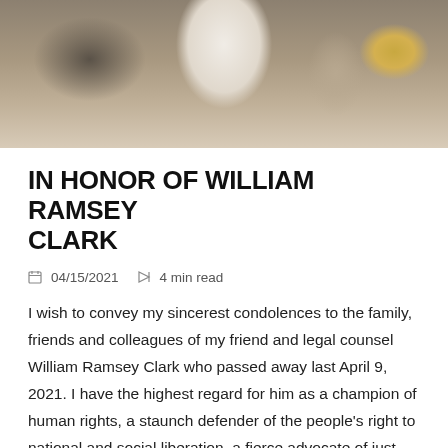[Figure (photo): Photo of two elderly people seated at a table with a white teapot, salt/pepper shakers, and a lit candle in a glass globe on the right side.]
IN HONOR OF WILLIAM RAMSEY CLARK
04/15/2021   4 min read
I wish to convey my sincerest condolences to the family, friends and colleagues of my friend and legal counsel William Ramsey Clark who passed away last April 9, 2021. I have the highest regard for him as a champion of human rights, a staunch defender of the people's right to national and social liberation, a fierce advocate of just peace and a resolute opponent to the imperialist policies and wars of aggression of the US.
[Figure (photo): Partial bottom photo strip, dark brown tones with some golden/yellow elements visible, appears to be an interior scene.]